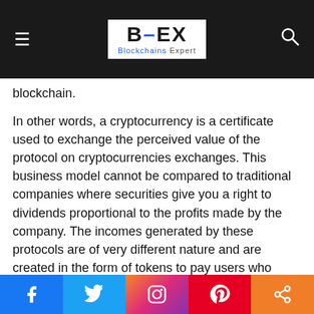BEX Blockchains Expert
blockchain.
In other words, a cryptocurrency is a certificate used to exchange the perceived value of the protocol on cryptocurrencies exchanges. This business model cannot be compared to traditional companies where securities give you a right to dividends proportional to the profits made by the company. The incomes generated by these protocols are of very different nature and are created in the form of tokens to pay users who participated to the development of the network. It is important to remember that these tokens are generated by the Protocol from thin air.
These tokens gain value (or not) when they are traded on
Facebook | Twitter | Instagram | Pinterest | Share